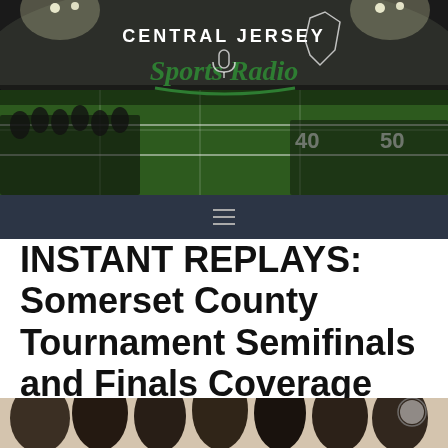[Figure (photo): Night football game on a green turf field with players on sideline, stadium lights, with Central Jersey Sports Radio logo overlay]
INSTANT REPLAYS: Somerset County Tournament Semifinals and Finals Coverage
[Figure (photo): Group of young basketball players indoors, partial view at bottom of page]